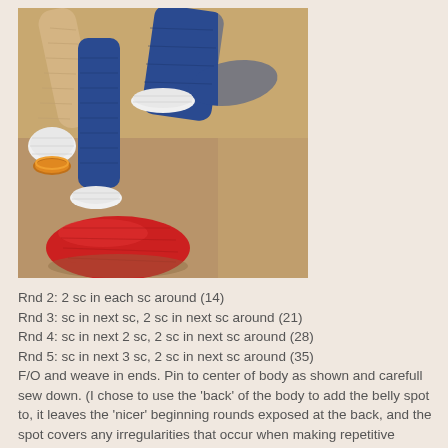[Figure (photo): A crocheted amigurumi figure (resembling Sonic the Hedgehog) showing its legs and feet. The figure has blue crocheted pants/legs, white cuffs at the ankles, a large red shoe/boot on one foot touching the ground, a tan/beige body arm or leg visible on the left, white glove-like piece, and an orange ring detail. The background is a tan/brown surface.]
Rnd 2:  2 sc in each sc around  (14)
Rnd 3:  sc in next sc,  2 sc in next sc around  (21)
Rnd 4:  sc in next 2 sc,  2 sc in next sc around  (28)
Rnd 5:  sc in next 3 sc,  2 sc in next sc around  (35)
F/O and weave in ends.  Pin to center of body as shown and carefull sew down.  (I chose to use the 'back' of the body to add the belly spot to,  it leaves the 'nicer' beginning rounds exposed at the back,  and the spot covers any irregularities that occur when making repetitive decreases.)